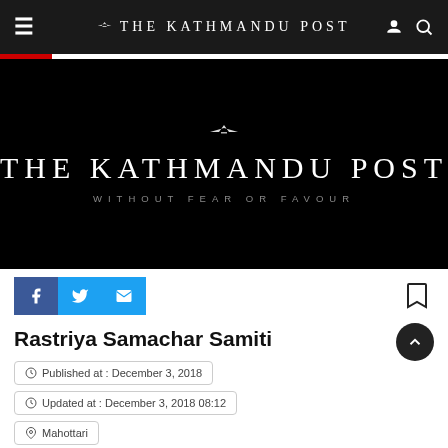THE KATHMANDU POST
[Figure (logo): The Kathmandu Post logo on black background with tagline WITHOUT FEAR OR FAVOUR]
Rastriya Samachar Samiti
Published at : December 3, 2018
Updated at : December 3, 2018 08:12
Mahottari